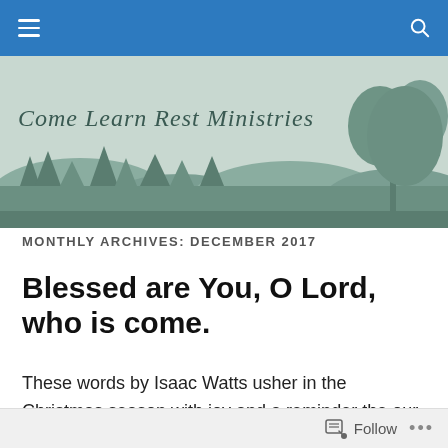Come Learn Rest Ministries
MONTHLY ARCHIVES: DECEMBER 2017
Blessed are You, O Lord, who is come.
These words by Isaac Watts usher in the Christmas season with joy and a reminder the our Lord has indeed come.  Today as I pray for others, I am reminded there are